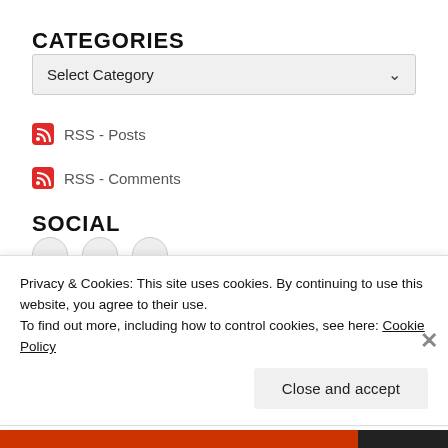CATEGORIES
Select Category
RSS - Posts
RSS - Comments
SOCIAL
Privacy & Cookies: This site uses cookies. By continuing to use this website, you agree to their use.
To find out more, including how to control cookies, see here: Cookie Policy
Close and accept